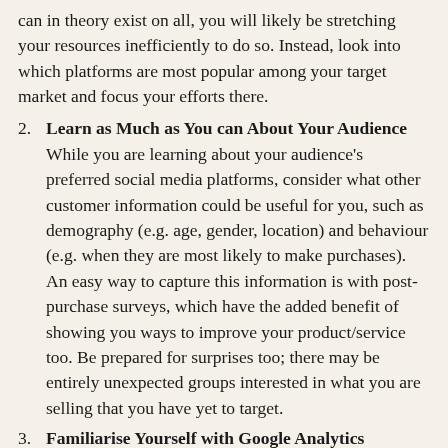can in theory exist on all, you will likely be stretching your resources inefficiently to do so. Instead, look into which platforms are most popular among your target market and focus your efforts there.
2. Learn as Much as You can About Your Audience
While you are learning about your audience's preferred social media platforms, consider what other customer information could be useful for you, such as demography (e.g. age, gender, location) and behaviour (e.g. when they are most likely to make purchases). An easy way to capture this information is with post-purchase surveys, which have the added benefit of showing you ways to improve your product/service too. Be prepared for surprises too; there may be entirely unexpected groups interested in what you are selling that you have yet to target.
3. Familiarise Yourself with Google Analytics
If you create a marketing campaign and have no method for tracking its results, does it generate any